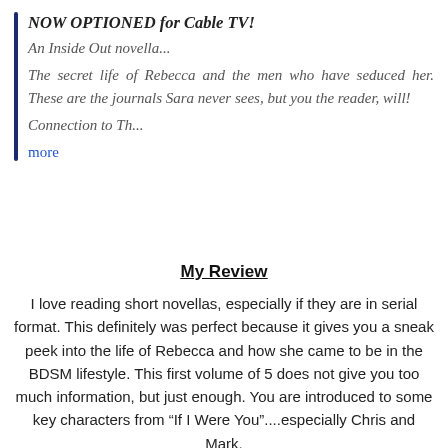NOW OPTIONED for Cable TV!
An Inside Out novella...
The secret life of Rebecca and the men who have seduced her. These are the journals Sara never sees, but you the reader, will!
Connection to Th...
more
My Review
I love reading short novellas, especially if they are in serial format. This definitely was perfect because it gives you a sneak peek into the life of Rebecca and how she came to be in the BDSM lifestyle. This first volume of 5 does not give you too much information, but just enough. You are introduced to some key characters from “If I Were You”....especially Chris and Mark.
Rebecca’s Lost Journals, Volume 1 is written in